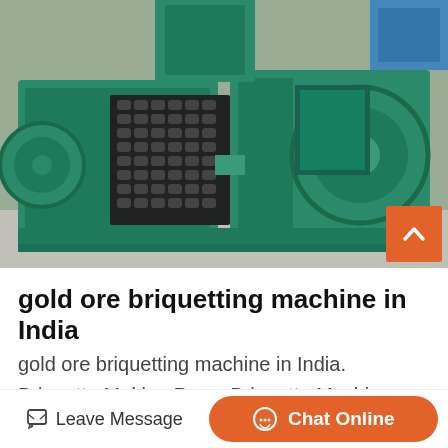[Figure (photo): Industrial green briquetting machine / briquette press machine photographed from the front, showing the roller press mechanism with multiple cylindrical molds, green painted body, and motor/gearbox components, placed outdoors on a concrete surface.]
gold ore briquetting machine in India
gold ore briquetting machine in India. Briquette Making Press Briquette Machine Manufacturer India Our briquetting machines can produce briquettes which h...
Leave Message
Chat Online